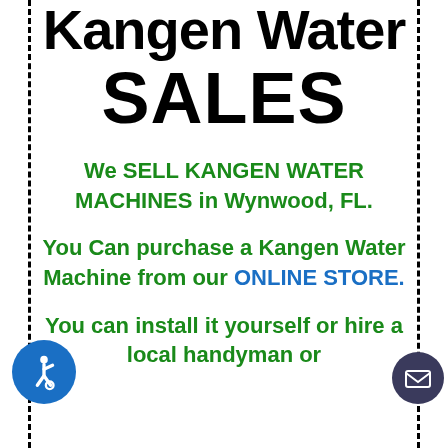Kangen Water SALES
We SELL KANGEN WATER MACHINES in Wynwood, FL.
You Can purchase a Kangen Water Machine from our ONLINE STORE.
You can install it yourself or hire a local handyman or plumber to help install it.